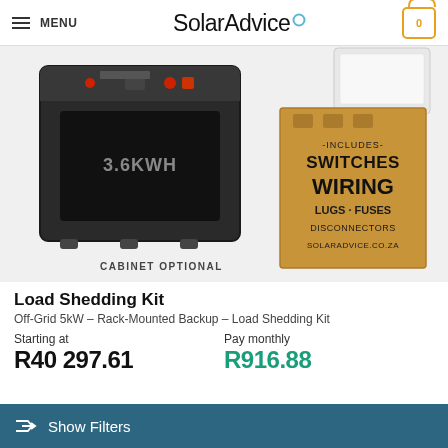MENU | SolarAdvice | 0
[Figure (photo): Product photo of a black rack-mounted 3.6KWH battery cabinet (labeled CABINET OPTIONAL) alongside a cardboard box listing included components: Switches, Wiring, Lugs, Fuses, Disconnectors - solaradvice.co.za. A white inverter/device is partially visible top right.]
Load Shedding Kit
Off-Grid 5kW – Rack-Mounted Backup – Load Shedding Kit
Starting at
R40 297.61
Pay monthly
R916.88
Show Filters